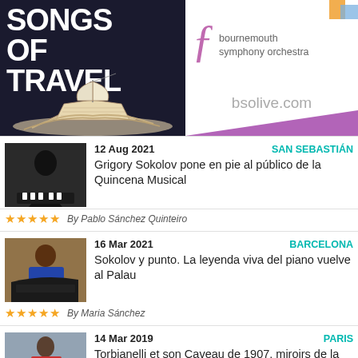[Figure (illustration): Songs of Travel concert advertisement with dark navy background, large white bold text 'SONGS OF TRAVEL', paper ship sculpture, alongside Bournemouth Symphony Orchestra logo with purple 'f' motif and bsolive.com URL]
12 Aug 2021
SAN SEBASTIÁN
Grigory Sokolov pone en pie al público de la Quincena Musical
By Pablo Sánchez Quinteiro
16 Mar 2021
BARCELONA
Sokolov y punto. La leyenda viva del piano vuelve al Palau
By Maria Sánchez
14 Mar 2019
PARIS
Torbianelli et son Caveau de 1907, miroirs de la